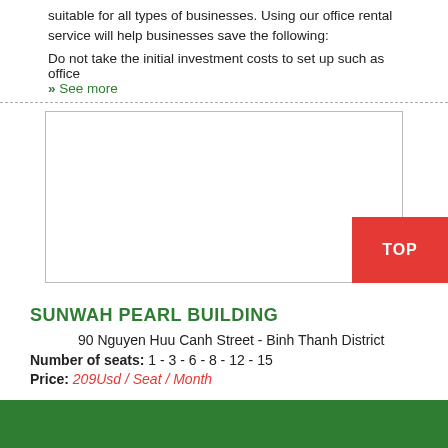suitable for all types of businesses. Using our office rental service will help businesses save the following:
Do not take the initial investment costs to set up such as office
» See more
[Figure (other): Empty white image box placeholder]
SUNWAH PEARL BUILDING
90 Nguyen Huu Canh Street - Binh Thanh District
Number of seats: 1 - 3 - 6 - 8 - 12 - 15
Price: 209Usd / Seat / Month